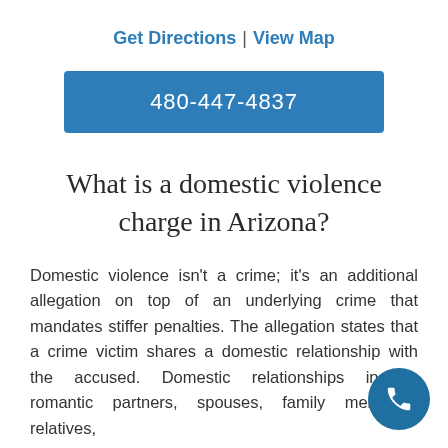Get Directions | View Map
480-447-4837
What is a domestic violence charge in Arizona?
Domestic violence isn't a crime; it's an additional allegation on top of an underlying crime that mandates stiffer penalties. The allegation states that a crime victim shares a domestic relationship with the accused. Domestic relationships include romantic partners, spouses, family members, relatives,